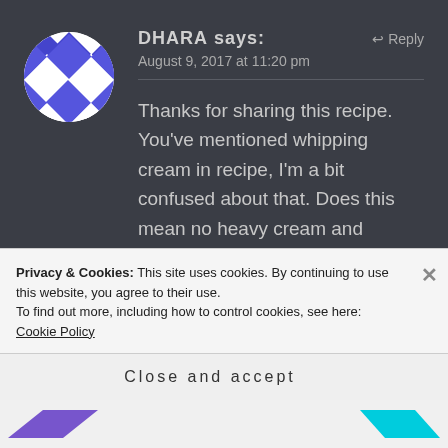[Figure (illustration): Circular avatar with blue and white checkerboard/diamond pattern]
DHARA says:
Reply
August 9, 2017 at 11:20 pm
Thanks for sharing this recipe. You've mentioned whipping cream in recipe, I'm a bit confused about that. Does this mean no heavy cream and something like cool whip to be used?
Privacy & Cookies: This site uses cookies. By continuing to use this website, you agree to their use.
To find out more, including how to control cookies, see here: Cookie Policy
Close and accept